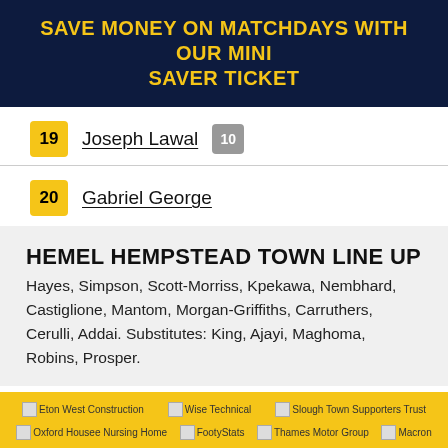SAVE MONEY ON MATCHDAYS WITH OUR MINI SAVER TICKET
19 Joseph Lawal 10
20 Gabriel George
HEMEL HEMPSTEAD TOWN LINE UP
Hayes, Simpson, Scott-Morriss, Kpekawa, Nembhard, Castiglione, Mantom, Morgan-Griffiths, Carruthers, Cerulli, Addai. Substitutes: King, Ajayi, Maghoma, Robins, Prosper.
[Figure (infographic): Sponsors footer bar with logos: Eton West Construction, Wise Technical, Slough Town Supporters Trust, Oxford Housee Nursing Home, FootyStats, Thames Motor Group, Macron]